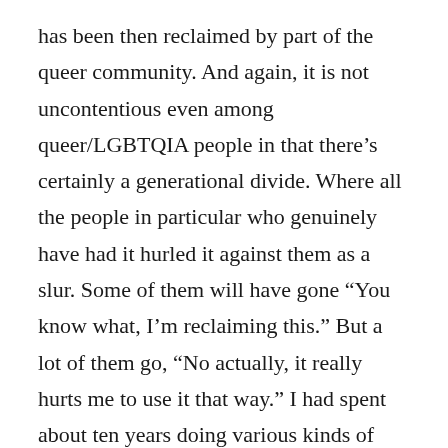has been then reclaimed by part of the queer community. And again, it is not uncontentious even among queer/LGBTQIA people in that there’s certainly a generational divide. Where all the people in particular who genuinely have had it hurled it against them as a slur. Some of them will have gone “You know what, I’m reclaiming this.” But a lot of them go, “No actually, it really hurts me to use it that way.” I had spent about ten years doing various kinds of queer activism in various kinds of contexts before I felt comfortable enough partly just because I felt more assimilated in British culture, but partly because I felt I had almost kind of earned the right to it. But for me, there’s definitely an intersection here between being queer and being a migrant that makes that word complex and